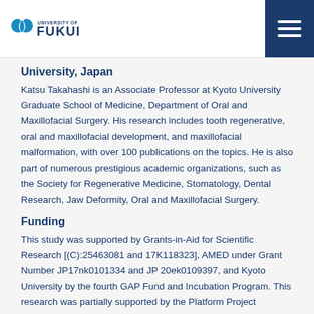University of Fukui
University, Japan
Katsu Takahashi is an Associate Professor at Kyoto University Graduate School of Medicine, Department of Oral and Maxillofacial Surgery. His research includes tooth regenerative, oral and maxillofacial development, and maxillofacial malformation, with over 100 publications on the topics. He is also part of numerous prestigious academic organizations, such as the Society for Regenerative Medicine, Stomatology, Dental Research, Jaw Deformity, Oral and Maxillofacial Surgery.
Funding
This study was supported by Grants-in-Aid for Scientific Research [(C):25463081 and 17K118323], AMED under Grant Number JP17nk0101334 and JP 20ek0109397, and Kyoto University by the fourth GAP Fund and Incubation Program. This research was partially supported by the Platform Project